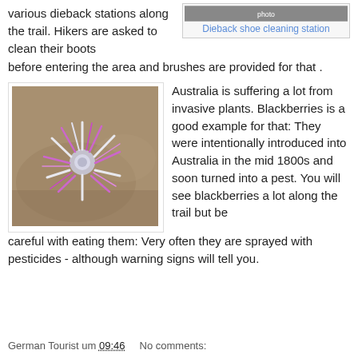various dieback stations along the trail. Hikers are asked to clean their boots before entering the area and brushes are provided for that .
[Figure (photo): Dieback shoe cleaning station - photo of a shoe cleaning station on a trail]
Dieback shoe cleaning station
[Figure (photo): A purple and white spiky flower growing between rocks, likely a native Australian plant]
Australia is suffering a lot from invasive plants. Blackberries is a good example for that: They were intentionally introduced into Australia in the mid 1800s and soon turned into a pest. You will see blackberries a lot along the trail but be careful with eating them: Very often they are sprayed with pesticides - although warning signs will tell you.
German Tourist um 09:46   No comments: